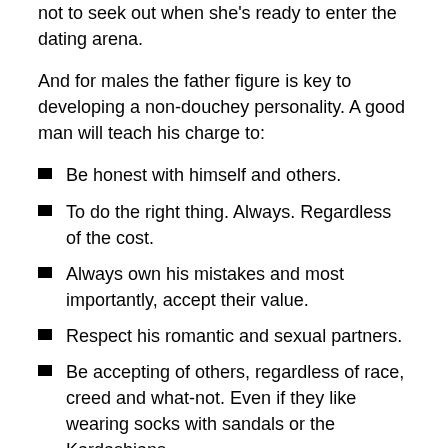not to seek out when she's ready to enter the dating arena.
And for males the father figure is key to developing a non-douchey personality. A good man will teach his charge to:
Be honest with himself and others.
To do the right thing. Always. Regardless of the cost.
Always own his mistakes and most importantly, accept their value.
Respect his romantic and sexual partners.
Be accepting of others, regardless of race, creed and what-not. Even if they like wearing socks with sandals or the Kardashians.
A million other lessons I'm not thinking of right now.
The truth is, I didn't have the childhood I deserved. Of